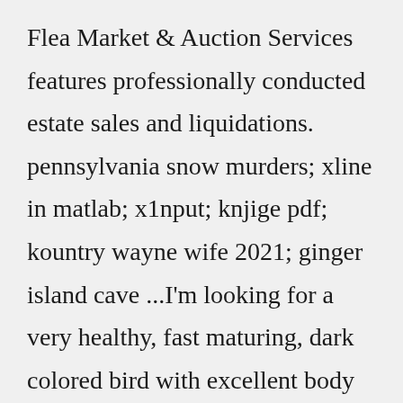Flea Market & Auction Services features professionally conducted estate sales and liquidations. pennsylvania snow murders; xline in matlab; x1nput; knjige pdf; kountry wayne wife 2021; ginger island cave ...I'm looking for a very healthy, fast maturing, dark colored bird with excellent body and tail angle. NY - Serama Cockerels- $30-$50 Pure Serama Roosters. Hatched 2021 and 2022. Smooth variety $30 each; Silky-